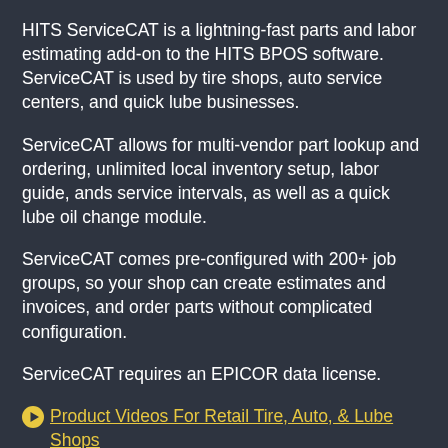HITS ServiceCAT is a lightning-fast parts and labor estimating add-on to the HITS BPOS software. ServiceCAT is used by tire shops, auto service centers, and quick lube businesses.
ServiceCAT allows for multi-vendor part lookup and ordering, unlimited local inventory setup, labor guide, ands service intervals, as well as a quick lube oil change module.
ServiceCAT comes pre-configured with 200+ job groups, so your shop can create estimates and invoices, and order parts without complicated configuration.
ServiceCAT requires an EPICOR data license.
▶ Product Videos For Retail Tire, Auto, & Lube Shops